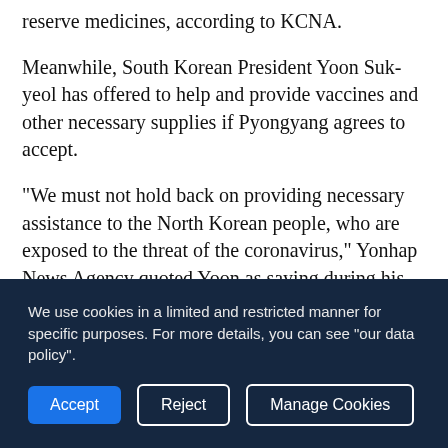reserve medicines, according to KCNA.
Meanwhile, South Korean President Yoon Suk-yeol has offered to help and provide vaccines and other necessary supplies if Pyongyang agrees to accept.
"We must not hold back on providing necessary assistance to the North Korean people, who are exposed to the threat of the coronavirus," Yonhap News Agency quoted Yoon as saying during his first budget speech at the National Assembly.
Last week, North Korea confirmed its first cases of COVID-19 in the country and imposed a nationwide lockdown.
We use cookies in a limited and restricted manner for specific purposes. For more details, you can see "our data policy".